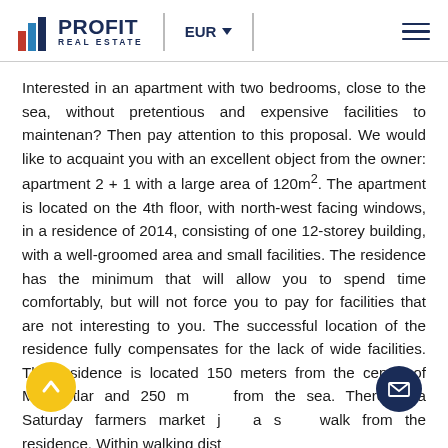[Figure (logo): Profit Real Estate logo with bar chart icon and text]
Interested in an apartment with two bedrooms, close to the sea, without pretentious and expensive facilities to maintenan? Then pay attention to this proposal. We would like to acquaint you with an excellent object from the owner: apartment 2 + 1 with a large area of 120m². The apartment is located on the 4th floor, with north-west facing windows, in a residence of 2014, consisting of one 12-storey building, with a well-groomed area and small facilities. The residence has the minimum that will allow you to spend time comfortably, but will not force you to pay for facilities that are not interesting to you. The successful location of the residence fully compensates for the lack of wide facilities. The residence is located 150 meters from the center of Mahmutlar and 250 meters from the sea. There is a Saturday farmers market just a short walk from the residence. Within walking distance the nearest store, a café, a doctor, table, a pharmacy, a